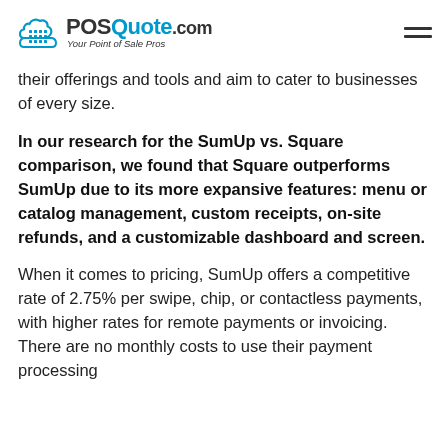POSQuote.com — Your Point of Sale Pros
their offerings and tools and aim to cater to businesses of every size.
In our research for the SumUp vs. Square comparison, we found that Square outperforms SumUp due to its more expansive features: menu or catalog management, custom receipts, on-site refunds, and a customizable dashboard and screen.
When it comes to pricing, SumUp offers a competitive rate of 2.75% per swipe, chip, or contactless payments, with higher rates for remote payments or invoicing. There are no monthly costs to use their payment processing